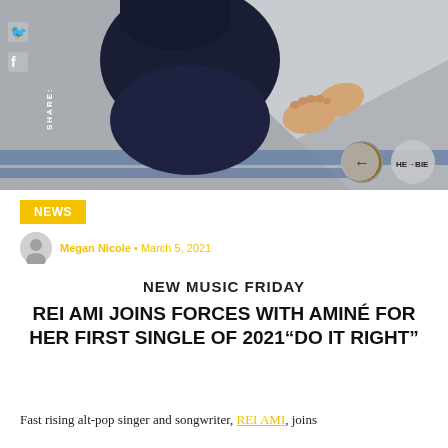[Figure (photo): Top banner photo of a person lying down on a striped surface, wearing dark clothing, with bare feet visible. Navigation arrows and a circular profile thumbnail overlay the bottom right of the image. Social share icons and a vertical SHARE label appear on the left side.]
NEWS
Megan Nicole • March 5, 2021
NEW MUSIC FRIDAY
REI AMI JOINS FORCES WITH AMINÉ FOR HER FIRST SINGLE OF 2021“DO IT RIGHT”
Fast rising alt-pop singer and songwriter, REI AMI, joins